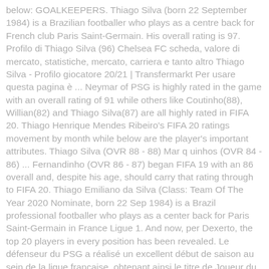below: GOALKEEPERS. Thiago Silva (born 22 September 1984) is a Brazilian footballer who plays as a centre back for French club Paris Saint-Germain. His overall rating is 97. Profilo di Thiago Silva (96) Chelsea FC scheda, valore di mercato, statistiche, mercato, carriera e tanto altro Thiago Silva - Profilo giocatore 20/21 | Transfermarkt Per usare questa pagina è ... Neymar of PSG is highly rated in the game with an overall rating of 91 while others like Coutinho(88), Willian(82) and Thiago Silva(87) are all highly rated in FIFA 20. Thiago Henrique Mendes Ribeiro's FIFA 20 ratings movement by month while below are the player's important attributes. Thiago Silva (OVR 88 - 88) Mar q uinhos (OVR 84 - 86) ... Fernandinho (OVR 86 - 87) began FIFA 19 with an 86 overall and, despite his age, should carry that rating through to FIFA 20. Thiago Emiliano da Silva (Class: Team Of The Year 2020 Nominate, born 22 Sep 1984) is a Brazil professional footballer who plays as a center back for Paris Saint-Germain in France Ligue 1. And now, per Dexerto, the top 20 players in every position has been revealed. Le défenseur du PSG a réalisé un excellent début de saison au sein de la ligue française, obtenant ainsi le titre de Joueur du mois d'octobre. He prefers to shoot with his right-footed and weak foot is 3. > FIFA 20: Spain player rating predictions – David Silva, Pique, Thiago, Koke & More. He initially started FIFA 20 with an 83 rating, before